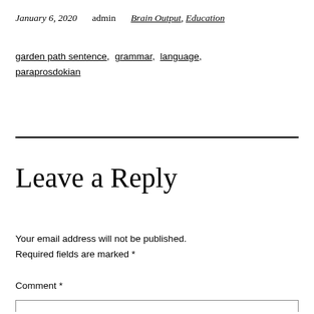January 6, 2020   admin   Brain Output, Education
garden path sentence, grammar, language, paraprosdokian
Leave a Reply
Your email address will not be published. Required fields are marked *
Comment *